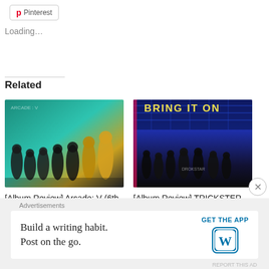[Figure (screenshot): Pinterest share button at top left]
Loading…
Related
[Figure (photo): GHOST9 group promotional photo with teal and gold outfits]
[Album Review] Arcade: V (6th Mini Album) – GHOST9
August 28, 2022
In "KPOP"
[Figure (photo): ONEUS group photo with BRING IT ON text and blue neon lighting]
[Album Review] TRICKSTER (7th Mini Album) – ONEUS
August 29, 2022
In "KPOP"
Advertisements
Build a writing habit. Post on the go.
GET THE APP